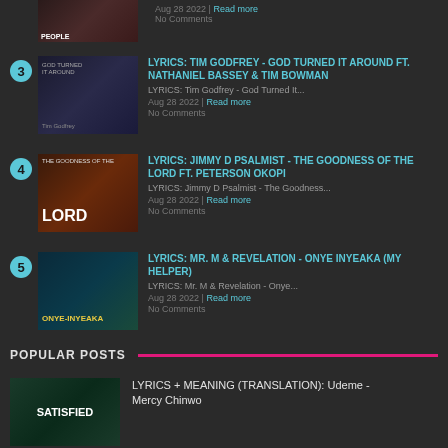[Figure (photo): Thumbnail image for post item at top (partial)]
Aug 28 2022 | Read more
No Comments
3 - LYRICS: TIM GODFREY - GOD TURNED IT AROUND FT. NATHANIEL BASSEY & TIM BOWMAN
LYRICS: Tim Godfrey - God Turned It...
Aug 28 2022 | Read more
No Comments
4 - LYRICS: JIMMY D PSALMIST - THE GOODNESS OF THE LORD FT. PETERSON OKOPI
LYRICS: Jimmy D Psalmist - The Goodness...
Aug 28 2022 | Read more
No Comments
5 - LYRICS: MR. M & REVELATION - ONYE INYEAKA (MY HELPER)
LYRICS: Mr. M & Revelation - Onye...
Aug 28 2022 | Read more
No Comments
POPULAR POSTS
[Figure (photo): Thumbnail image for popular post - Satisfied]
LYRICS + MEANING (TRANSLATION): Udeme - Mercy Chinwo